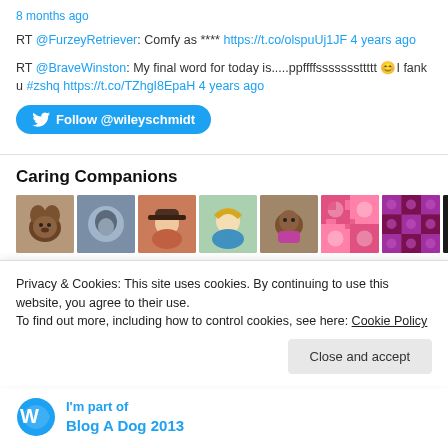8 months ago
RT @FurzeyRetriever: Comfy as **** https://t.co/olspuUj1JF 4 years ago
RT @BraveWinston: My final word for today is.....ppffffsssssssttttt 😊I fank u #zshq https://t.co/TZhgI8EpaH 4 years ago
[Figure (other): Follow @wileyschmidt Twitter button]
Caring Companions
[Figure (photo): Row of 8 thumbnail profile photos and pattern images]
Privacy & Cookies: This site uses cookies. By continuing to use this website, you agree to their use.
To find out more, including how to control cookies, see here: Cookie Policy
[Figure (other): Close and accept button]
I'm part of
Blog A Dog 2013